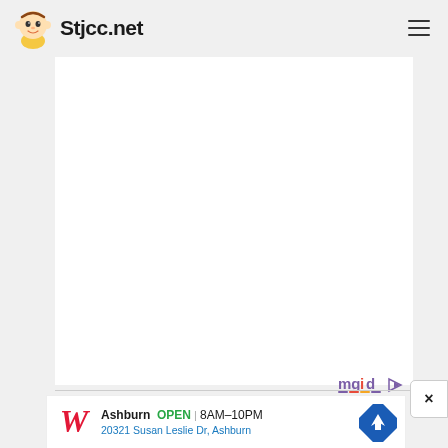Stjcc.net
[Figure (screenshot): White rectangular content placeholder area on a light gray background]
[Figure (logo): mgid logo with play button icon]
[Figure (screenshot): Close button with × symbol]
[Figure (screenshot): Walgreens advertisement banner: Ashburn OPEN 8AM-10PM, 20321 Susan Leslie Dr, Ashburn]